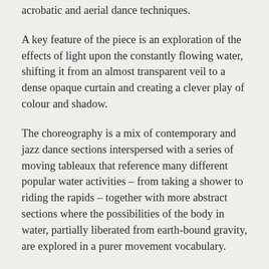acrobatic and aerial dance techniques.
A key feature of the piece is an exploration of the effects of light upon the constantly flowing water, shifting it from an almost transparent veil to a dense opaque curtain and creating a clever play of colour and shadow.
The choreography is a mix of contemporary and jazz dance sections interspersed with a series of moving tableaux that reference many different popular water activities – from taking a shower to riding the rapids – together with more abstract sections where the possibilities of the body in water, partially liberated from earth-bound gravity, are explored in a purer movement vocabulary.